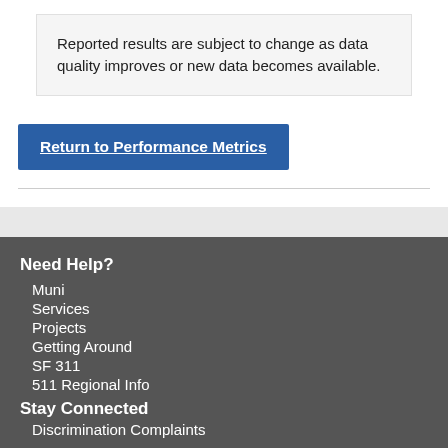Reported results are subject to change as data quality improves or new data becomes available.
Return to Performance Metrics
Need Help?
Muni
Services
Projects
Getting Around
SF 311
511 Regional Info
Stay Connected
Discrimination Complaints